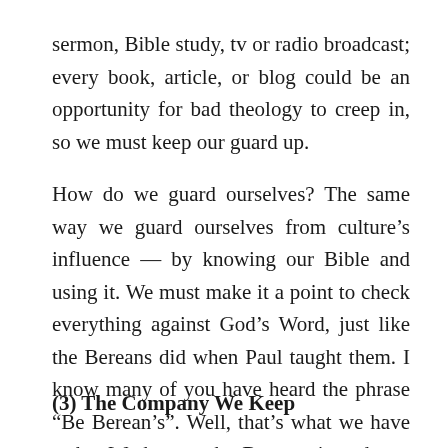sermon, Bible study, tv or radio broadcast; every book, article, or blog could be an opportunity for bad theology to creep in, so we must keep our guard up.
How do we guard ourselves? The same way we guard ourselves from culture's influence — by knowing our Bible and using it. We must make it a point to check everything against God's Word, just like the Bereans did when Paul taught them. I know many of you have heard the phrase “Be Berean’s”. Well, that’s what we have to be. We have to be Bereans in order to guard ourselves from bad theology.
(3) The Company We Keep